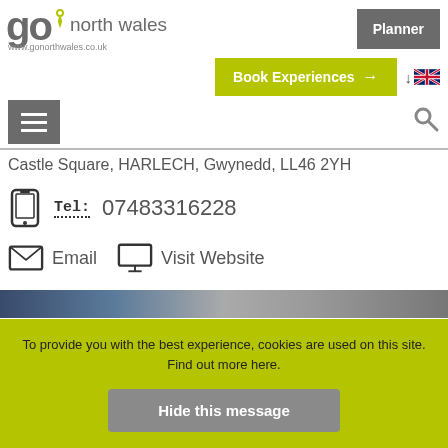go north wales www.gonorthwales.co.uk | Planner | Book Experiences | Language selector
Castle Square, HARLECH, Gwynedd, LL46 2YH
Tel: 07483316228
Email | Visit Website
[Figure (photo): Partial view of a photo strip showing a dark blue and grey scene]
To provide you with the best experience, cookies are used on this site. Find out more here.
Hide this message